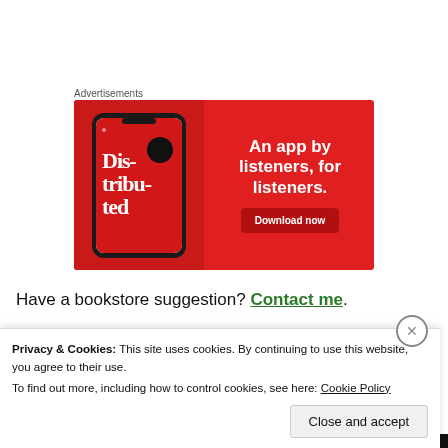Advertisements
[Figure (illustration): Red advertisement banner for a podcast app. Left side shows a smartphone displaying 'Dis-tri-bu-ted' podcast app. Right side has white bold text: 'An app by listeners, for listeners.' with a dark red 'Download now' button.]
Have a bookstore suggestion? Contact me.
Privacy & Cookies: This site uses cookies. By continuing to use this website, you agree to their use.
To find out more, including how to control cookies, see here: Cookie Policy